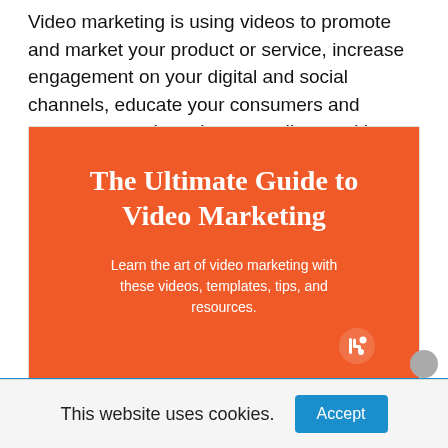Video marketing is using videos to promote and market your product or service, increase engagement on your digital and social channels, educate your consumers and customers, and reach your audience with a new medium.
[Figure (illustration): Orange promotional banner for 'The Ultimate Guide to Video Marketing' with subtitle 'Learn the art of video marketing with these videos, templates, tips, and resources.' HubSpot logo in bottom right corner.]
Ultimate Guide to Video Marketing
This website uses cookies.